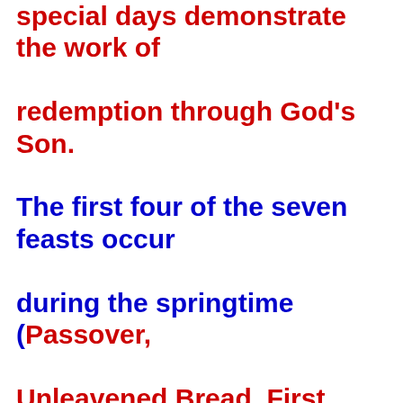special days demonstrate the work of redemption through God's Son. The first four of the seven feasts occur during the springtime (Passover, Unleavened Bread, First Fruits, and Weeks) and they all have already been fulfilled by Christ in the New Testament. The final three holidays (Trumpets, The Day of Atonement, and Tabernacles) occur during the fall, all within a short